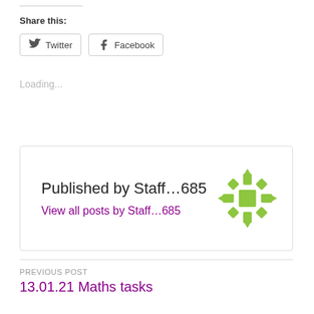Share this:
Twitter  Facebook
Loading...
Published by Staff...685
View all posts by Staff...685
PREVIOUS POST
13.01.21 Maths tasks